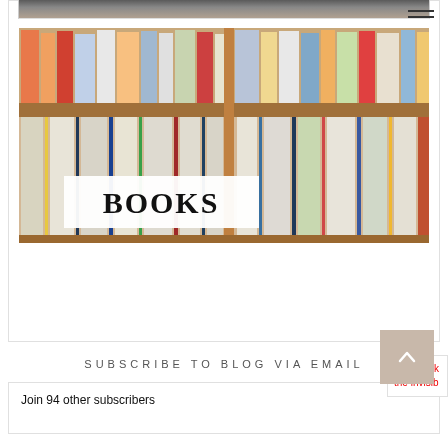[Figure (screenshot): Hamburger menu icon (three horizontal lines) in top right corner]
[Figure (photo): Partial cropped photo visible at top of card, appears to be a room or person]
[Figure (photo): Photo of books on library shelves with a white banner overlay reading BOOKS in large serif text]
SUBSCRIBE TO BLOG VIA EMAIL
Join 94 other subscribers
[Figure (other): Beige/tan scroll-to-top button with upward chevron arrow]
This site k the invisib